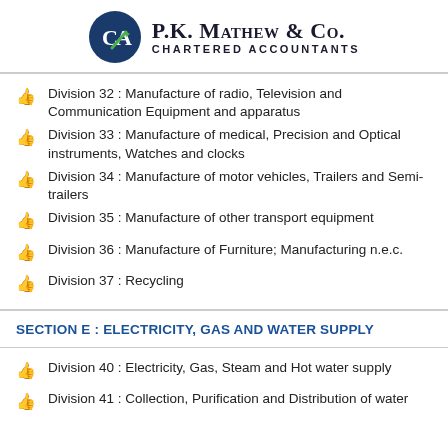P.K. Mathew & Co. Chartered Accountants
Division 32 : Manufacture of radio, Television and Communication Equipment and apparatus
Division 33 : Manufacture of medical, Precision and Optical instruments, Watches and clocks
Division 34 : Manufacture of motor vehicles, Trailers and Semi-trailers
Division 35 : Manufacture of other transport equipment
Division 36 : Manufacture of Furniture; Manufacturing n.e.c.
Division 37 : Recycling
SECTION E : ELECTRICITY, GAS AND WATER SUPPLY
Division 40 : Electricity, Gas, Steam and Hot water supply
Division 41 : Collection, Purification and Distribution of water